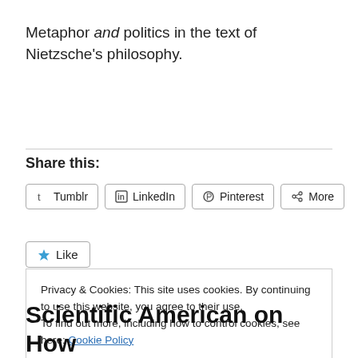Metaphor and politics in the text of Nietzsche's philosophy.
Share this:
[Figure (other): Social sharing buttons: Tumblr, LinkedIn, Pinterest, More]
[Figure (other): Like button with star icon]
Privacy & Cookies: This site uses cookies. By continuing to use this website, you agree to their use.
To find out more, including how to control cookies, see here: Cookie Policy
Close and accept
Scientific American on How